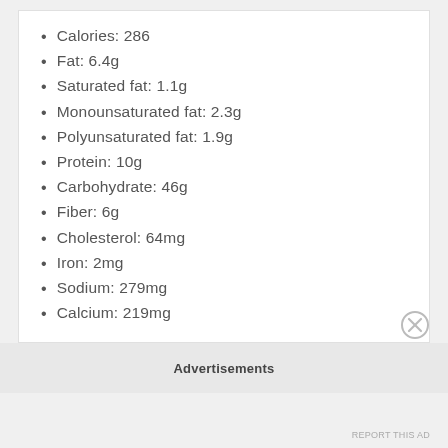Calories: 286
Fat: 6.4g
Saturated fat: 1.1g
Monounsaturated fat: 2.3g
Polyunsaturated fat: 1.9g
Protein: 10g
Carbohydrate: 46g
Fiber: 6g
Cholesterol: 64mg
Iron: 2mg
Sodium: 279mg
Calcium: 219mg
Advertisements
REPORT THIS AD